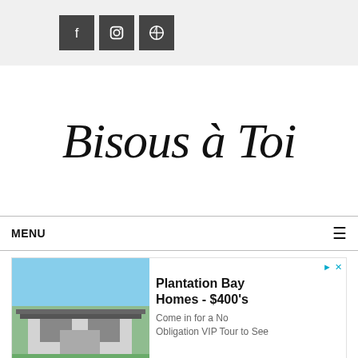[Figure (other): Social media icon buttons: Facebook, Instagram, Pinterest on gray background]
Bisous à Toi
MENU
[Figure (other): Advertisement for Plantation Bay Homes - $400's with a photo of a house and text: Come in for a No Obligation VIP Tour to See]